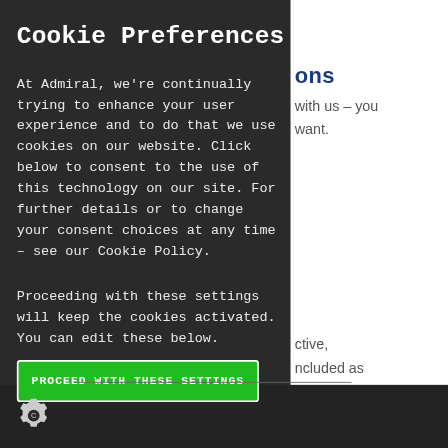Cookie Preferences
At Admiral, we're continually trying to enhance your user experience and to do that we use cookies on our website. Click below to consent to the use of this technology on our site. For further details or to change your consent choices at any time – see our Cookie Policy.
Proceeding with these settings will keep the cookies activated. You can edit these below.
PROCEED WITH THESE SETTINGS
ons
with us – you want.
ctive, ncluded as